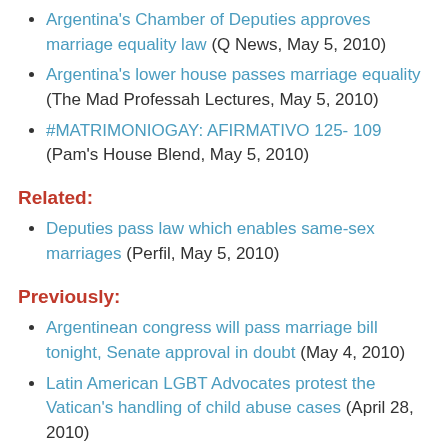Argentina's Chamber of Deputies approves marriage equality law (Q News, May 5, 2010)
Argentina's lower house passes marriage equality (The Mad Professah Lectures, May 5, 2010)
#MATRIMONIOGAY: AFIRMATIVO 125- 109 (Pam's House Blend, May 5, 2010)
Related:
Deputies pass law which enables same-sex marriages (Perfil, May 5, 2010)
Previously:
Argentinean congress will pass marriage bill tonight, Senate approval in doubt (May 4, 2010)
Latin American LGBT Advocates protest the Vatican's handling of child abuse cases (April 28, 2010)
Argentinean lesbian couple's marriage ruled valid once again (April 19, 2010)
First and only lesbian marriage in Argentina has